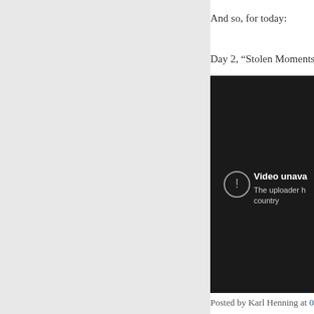And so, for today:
Day 2, “Stolen Moments” (fro…
[Figure (screenshot): Embedded video player showing unavailable video message: 'Video unava...' and 'The uploader h... country']
Posted by Karl Henning at 05:...